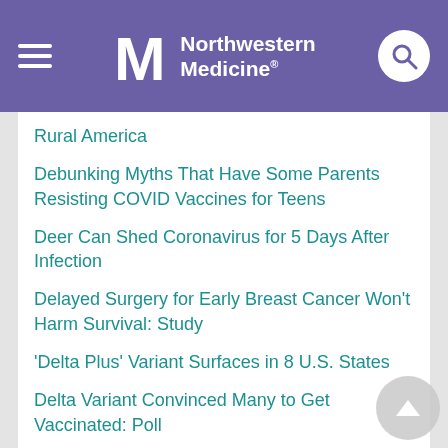Northwestern Medicine
Rural America
Debunking Myths That Have Some Parents Resisting COVID Vaccines for Teens
Deer Can Shed Coronavirus for 5 Days After Infection
Delayed Surgery for Early Breast Cancer Won't Harm Survival: Study
'Delta Plus' Variant Surfaces in 8 U.S. States
Delta Variant Convinced Many to Get Vaccinated: Poll
Delta Variant Has Americans' Stress Levels Rising Again: Poll
Delta Variant Now Fueling 99% of U.S. COVID